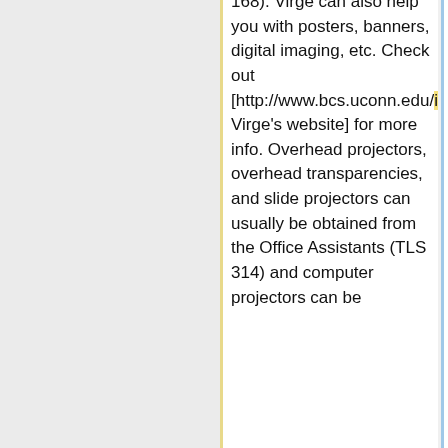168). Virge can also help you with posters, banners, digital imaging, etc. Check out [http://www.bcs.uconn.edu/illust2.html Virge's website] for more info. Overhead projectors, overhead transparencies, and slide projectors can usually be obtained from the Office Assistants (TLS 314) and computer projectors can be
168). Virge can also help you with posters, banners, digital imaging, etc. Check out [http://www.bcs.uconn.edu/Illustration/Illustration home.html Virge's website] for more info. Overhead projectors, overhead transparencies, and slide projectors can usually be obtained from the Office Assistants (TLS 314) and